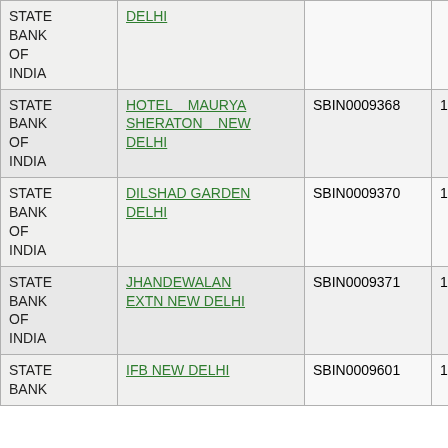| Bank | Branch | IFSC | MICR |
| --- | --- | --- | --- |
| STATE BANK OF INDIA | DELHI |  |  |
| STATE BANK OF INDIA | HOTEL MAURYA SHERATON NEW DELHI | SBIN0009368 | 110002187 |
| STATE BANK OF INDIA | DILSHAD GARDEN DELHI | SBIN0009370 | 110002183 |
| STATE BANK OF INDIA | JHANDEWALAN EXTN NEW DELHI | SBIN0009371 | 110002184 |
| STATE BANK OF INDIA | IFB NEW DELHI | SBIN0009601 | 110002188 |